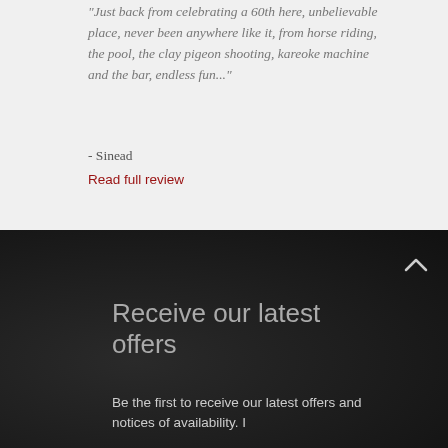“Just back from celebrating a 60th here, unbelievable place, never been anywhere like it, from horse riding, the pool, the clay pigeon shooting, kareoke machine and the bar, endless fun...”
- Sinead
Read full review
Receive our latest offers
Be the first to receive our latest offers and notices of availability. I